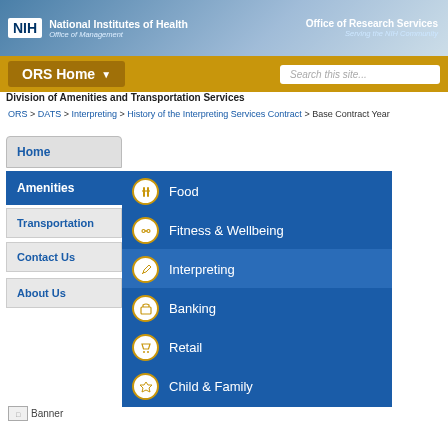National Institutes of Health Office of Management | Office of Research Services Serving the NIH Community
ORS Home
Division of Amenities and Transportation Services
ORS > DATS > Interpreting > History of the Interpreting Services Contract > Base Contract Year
Home
Amenities
Transportation
Contact Us
About Us
Food
Fitness & Wellbeing
Interpreting
Banking
Retail
Child & Family
[Figure (screenshot): Broken image placeholder labeled 'Banner']